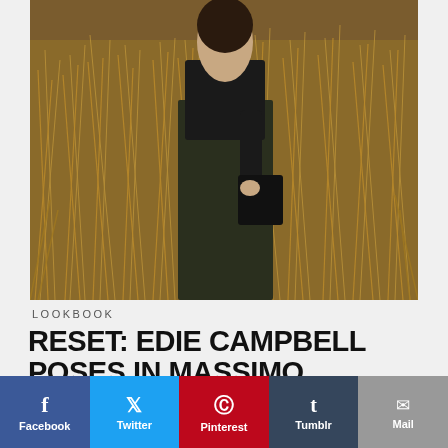[Figure (photo): A person wearing a black top and dark olive/khaki wide-leg trousers standing in a field of tall dry golden grass, holding a dark bag. The photo has warm earthy tones.]
LOOKBOOK
RESET: EDIE CAMPBELL POSES IN MASSIMO DUTTI'S
[Figure (infographic): Social sharing bar with buttons: Facebook (blue), Twitter (cyan), Pinterest (red), Tumblr (dark blue/grey), Mail (grey)]